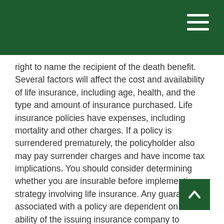right to name the recipient of the death benefit. Several factors will affect the cost and availability of life insurance, including age, health, and the type and amount of insurance purchased. Life insurance policies have expenses, including mortality and other charges. If a policy is surrendered prematurely, the policyholder also may pay surrender charges and have income tax implications. You should consider determining whether you are insurable before implementing a strategy involving life insurance. Any guarantees associated with a policy are dependent on the ability of the issuing insurance company to continue making claim payments.
Spousal IRA
An individual retirement arrangement under which an IRA is established for a non-working spouse and is